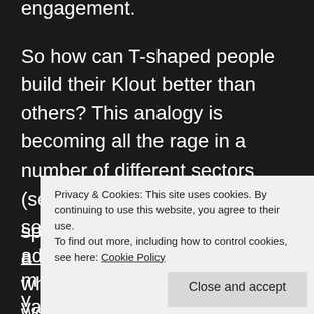engagement.
So how can T-shaped people build their Klout better than others? This analogy is becoming all the rage in a number of different sectors (see my post on why marketing services should have acquired advertising) and this is clear when we look at how klout works offline; the ability to have a broad reach but also specific depth means that we can engage with a ... m...
y...
variety of different audiences (the horizontal
Privacy & Cookies: This site uses cookies. By continuing to use this website, you agree to their use.
To find out more, including how to control cookies, see here: Cookie Policy
Close and accept